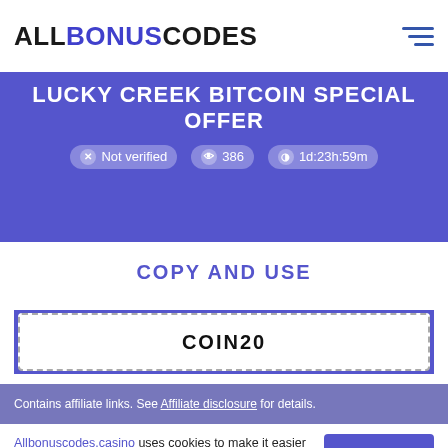ALLBONUSCODES
LUCKY CREEK BITCOIN SPECIAL OFFER
Not verified   386   1d:23h:59m
COPY AND USE
COIN20
Contains affiliate links. See Affiliate disclosure for details.
Allbonuscodes.casino uses cookies to make it easier for you to use our website and gather analytics and improve the site. You agree to our use of cookies by clicking the "Allow Cookies" button or continuing to use our website. To find out more, see our Privacy Policy.